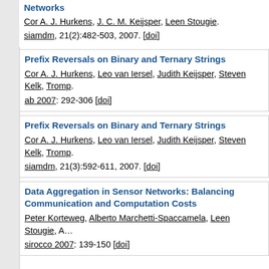Networks
Cor A. J. Hurkens, J. C. M. Keijsper, Leen Stougie. siamdm, 21(2):482-503, 2007. [doi]
Prefix Reversals on Binary and Ternary Strings
Cor A. J. Hurkens, Leo van Iersel, Judith Keijsper, Steven Kelk, Tromp.
ab 2007: 292-306 [doi]
Prefix Reversals on Binary and Ternary Strings
Cor A. J. Hurkens, Leo van Iersel, Judith Keijsper, Steven Kelk, Tromp.
siamdm, 21(3):592-611, 2007. [doi]
Data Aggregation in Sensor Networks: Balancing Communication and Computation Costs
Peter Korteweg, Alberto Marchetti-Spaccamela, Leen Stougie, A…
sirocco 2007: 139-150 [doi]